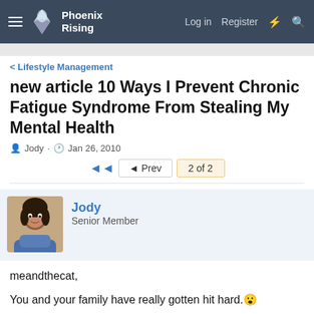Phoenix Rising | Log in  Register
Lifestyle Management
new article 10 Ways I Prevent Chronic Fatigue Syndrome From Stealing My Mental Health
Jody · Jan 26, 2010
◄  ◄ Prev  2 of 2
Jody
Senior Member
meandthecat,

You and your family have really gotten hit hard.

I'm hoping that we'll see a shift in the way our illness is perceived. And then we'll see some cures of this physical disease of ours.